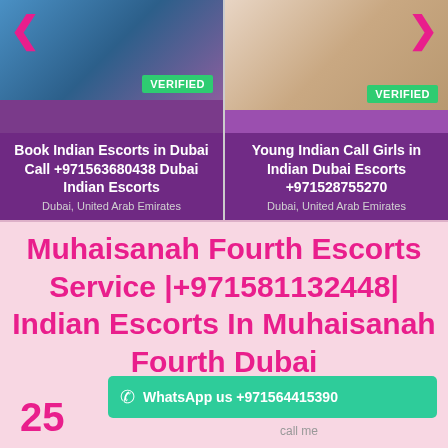[Figure (photo): Two escort listing cards side by side with photos and verified badges]
VERIFIED
Book Indian Escorts in Dubai Call +971563680438 Dubai Indian Escorts
Dubai, United Arab Emirates
VERIFIED
Young Indian Call Girls in Indian Dubai Escorts +971528755270
Dubai, United Arab Emirates
Muhaisanah Fourth Escorts Service |+971581132448| Indian Escorts In Muhaisanah Fourth Dubai
WhatsApp us +971564415390
call me
25